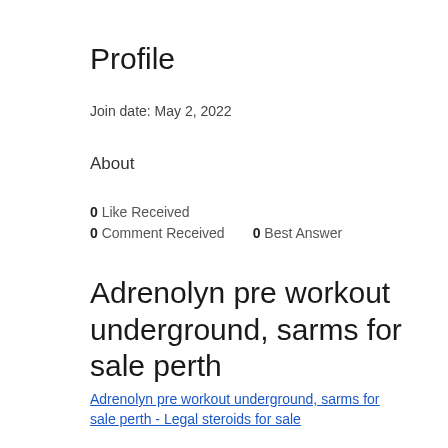Profile
Join date: May 2, 2022
About
0 Like Received
0 Comment Received    0 Best Answer
Adrenolyn pre workout underground, sarms for sale perth
Adrenolyn pre workout underground, sarms for sale perth - Legal steroids for sale